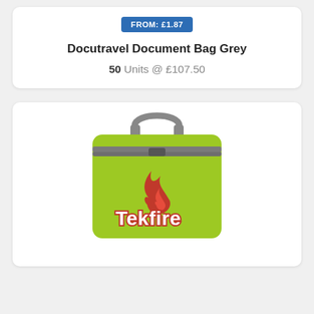FROM: £1.87
Docutravel Document Bag Grey
50 Units @ £107.50
[Figure (illustration): A lime green document/travel bag with a grey zip and grey carry handle. The bag displays a red flame logo and the brand name 'Tekfire' in white text with a red outline.]